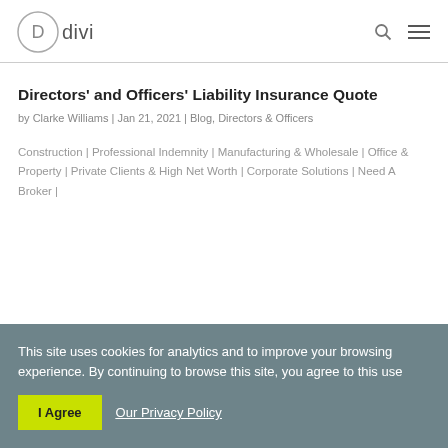Divi
Directors' and Officers' Liability Insurance Quote
by Clarke Williams | Jan 21, 2021 | Blog, Directors & Officers
Construction | Professional Indemnity | Manufacturing & Wholesale | Office & Property | Private Clients & High Net Worth | Corporate Solutions | Need A Broker |
This site uses cookies for analytics and to improve your browsing experience. By continuing to browse this site, you agree to this use
I Agree  Our Privacy Policy